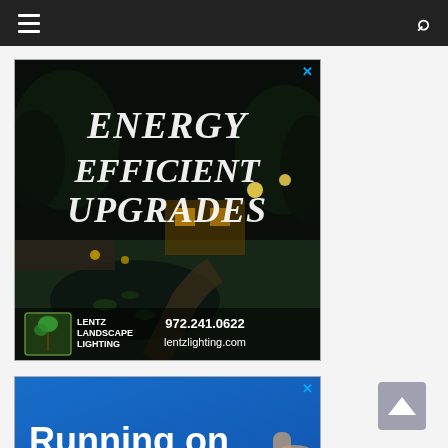Navigation bar with hamburger menu and search icon
[Figure (illustration): Advertisement for Lentz Landscape Lighting showing a nighttime outdoor garden/patio scene with the text 'ENERGY EFFICIENT UPGRADES' in large italic white font, and the company logo, phone number 972.241.0622, and website lentzlighting.com at the bottom.]
[Figure (illustration): Advertisement with blue background showing text 'Running on' in large bold white font with a partial image of a hand/finger visible.]